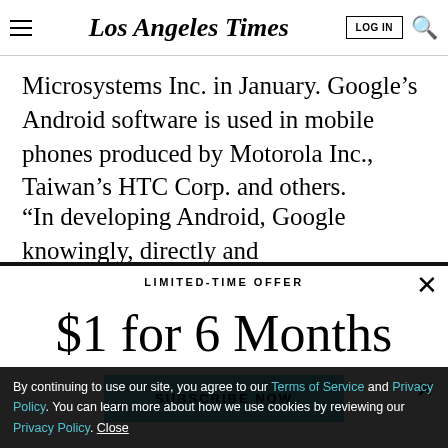Los Angeles Times
Microsystems Inc. in January. Google’s Android software is used in mobile phones produced by Motorola Inc., Taiwan’s HTC Corp. and others.
“In developing Android, Google knowingly, directly and
LIMITED-TIME OFFER
$1 for 6 Months
SUBSCRIBE NOW
By continuing to use our site, you agree to our Terms of Service and Privacy Policy. You can learn more about how we use cookies by reviewing our Privacy Policy. Close